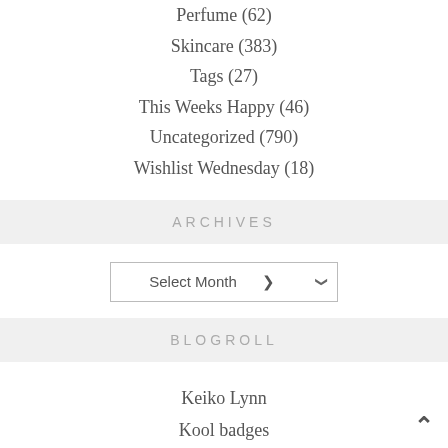Perfume (62)
Skincare (383)
Tags (27)
This Weeks Happy (46)
Uncategorized (790)
Wishlist Wednesday (18)
ARCHIVES
Select Month
BLOGROLL
Keiko Lynn
Kool badges